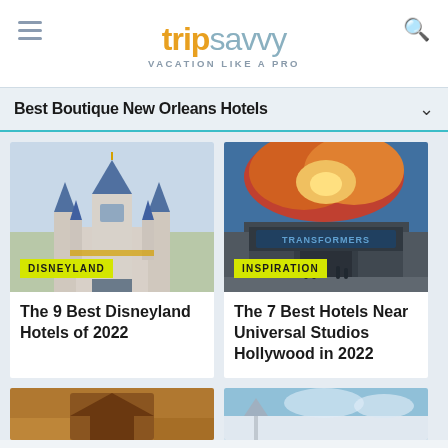tripsavvy VACATION LIKE A PRO
Best Boutique New Orleans Hotels
[Figure (photo): Disneyland castle with blue spires and yellow banner decorations against a hazy sky]
DISNEYLAND
The 9 Best Disneyland Hotels of 2022
[Figure (photo): Transformers ride entrance at Universal Studios Hollywood with dramatic movie poster artwork overhead]
INSPIRATION
The 7 Best Hotels Near Universal Studios Hollywood in 2022
[Figure (photo): Partial view of a rustic building - bottom card left]
[Figure (photo): Partial view of a scene with blue sky and structure - bottom card right]